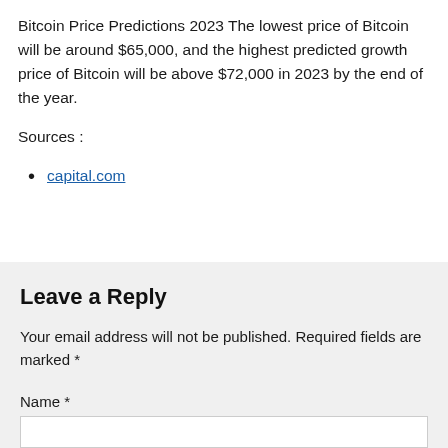Bitcoin Price Predictions 2023 The lowest price of Bitcoin will be around $65,000, and the highest predicted growth price of Bitcoin will be above $72,000 in 2023 by the end of the year.
Sources :
capital.com
Leave a Reply
Your email address will not be published. Required fields are marked *
Name *